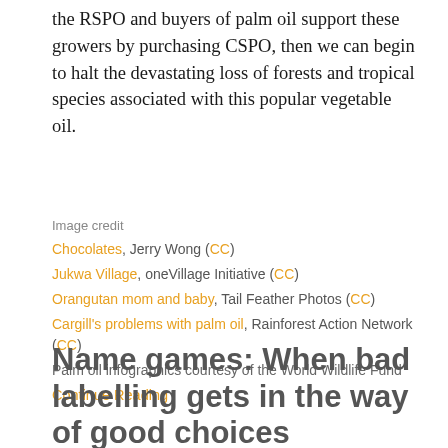the RSPO and buyers of palm oil support these growers by purchasing CSPO, then we can begin to halt the devastating loss of forests and tropical species associated with this popular vegetable oil.
Image credit
Chocolates, Jerry Wong (CC)
Jukwa Village, oneVillage Initiative (CC)
Orangutan mom and baby, Tail Feather Photos (CC)
Cargill's problems with palm oil, Rainforest Action Network (CC)
Palm oil infographics courtesy of the World Wildlife Fund
Continue Reading
Name games: When bad labelling gets in the way of good choices